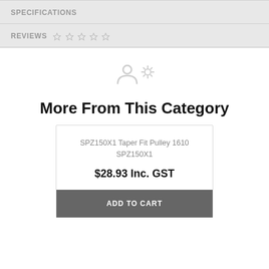SPECIFICATIONS
REVIEWS ☆ ☆ ☆ ☆ ☆
More From This Category
SPZ150X1 Taper Fit Pulley 1610 SPZ150X1
$28.93 Inc. GST
ADD TO CART